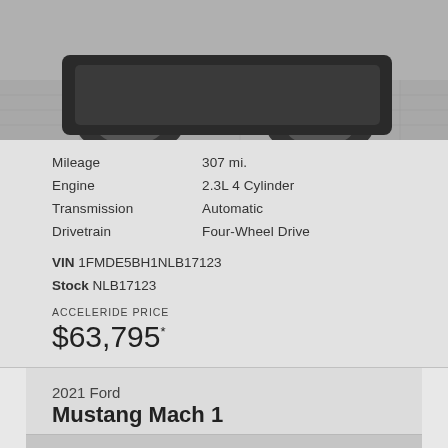[Figure (photo): Partial view of a dark SUV/truck vehicle from the front lower section, shown in a gray studio setting]
Mileage	307 mi.
Engine	2.3L 4 Cylinder
Transmission	Automatic
Drivetrain	Four-Wheel Drive
VIN 1FMDE5BH1NLB17123
Stock NLB17123
ACCELERIDE PRICE
$63,795*
2021 Ford
Mustang Mach 1
[Figure (photo): Partial view of a 2021 Ford Mustang Mach 1 in blue, bottom portion visible]